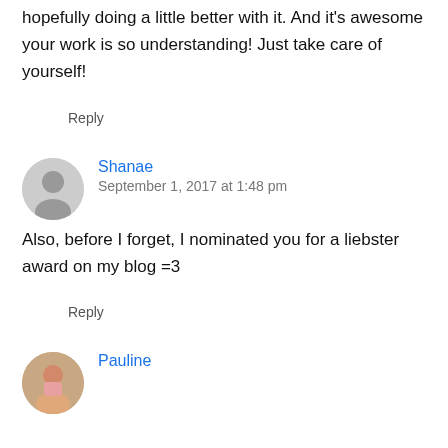hopefully doing a little better with it. And it's awesome your work is so understanding! Just take care of yourself!
Reply
Shanae
September 1, 2017 at 1:48 pm
Also, before I forget, I nominated you for a liebster award on my blog =3
Reply
Pauline